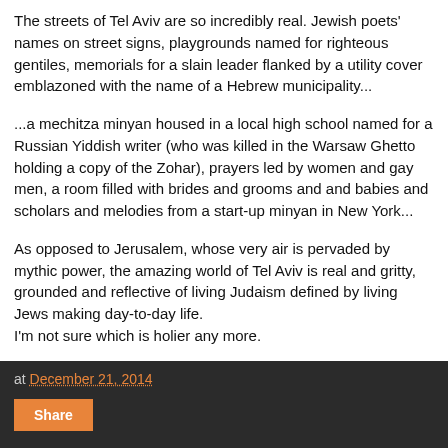The streets of Tel Aviv are so incredibly real. Jewish poets' names on street signs, playgrounds named for righteous gentiles, memorials for a slain leader flanked by a utility cover emblazoned with the name of a Hebrew municipality...
...a mechitza minyan housed in a local high school named for a Russian Yiddish writer (who was killed in the Warsaw Ghetto holding a copy of the Zohar), prayers led by women and gay men, a room filled with brides and grooms and and babies and scholars and melodies from a start-up minyan in New York...
As opposed to Jerusalem, whose very air is pervaded by mythic power, the amazing world of Tel Aviv is real and gritty, grounded and reflective of living Judaism defined by living Jews making day-to-day life.
I'm not sure which is holier any more.
at December 21, 2014
Share
Dec 18, 2014
A Comment on Justice and Israeli Democracy